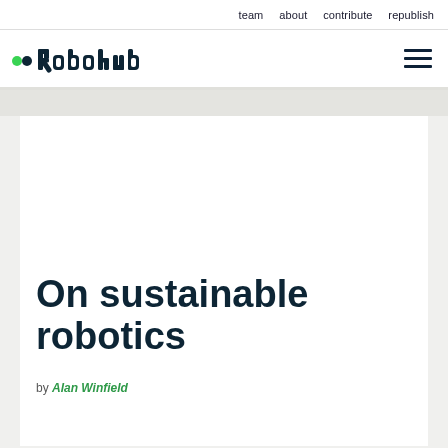team   about   contribute   republish
[Figure (logo): Robohub logo with two green dots and dark teal stylized text reading 'Robohub']
On sustainable robotics
by Alan Winfield